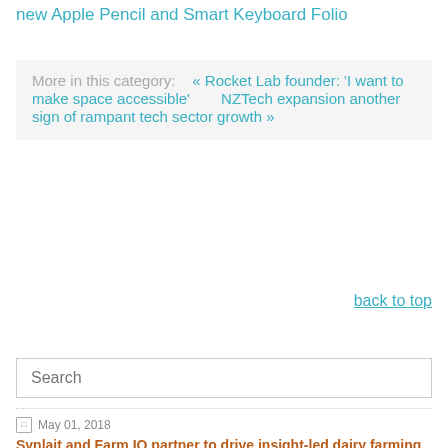Apple unveils the new 2018 10.5-inch iPad with full-screen design, new Apple Pencil and Smart Keyboard Folio
More in this category: « Rocket Lab founder: 'I want to make space accessible'   NZTech expansion another sign of rampant tech sector growth »
back to top
Search
May 01, 2018
Synlait and Farm IQ partner to drive insight-led dairy farming
in PRIMARY SECTOR